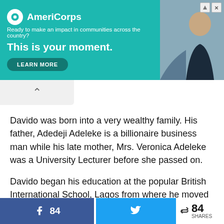[Figure (other): AmeriCorps advertisement banner with teal background, logo, tagline 'Ready to make an impact in communities across the country?', headline 'This is your moment.', a 'LEARN MORE' button, and a photo of a person on the right side.]
Davido was born into a very wealthy family. His father, Adedeji Adeleke is a billionaire business man while his late mother, Mrs. Veronica Adeleke was a University Lecturer before she passed on.
Davido began his education at the popular British International School, Lagos from where he moved to Oakwood University to study Business Administration but had to move back to Nigeria. Upon getting to Nigeria, Davido enrolled in Babcock
84  [Facebook share] [Twitter share] < 84 SHARES